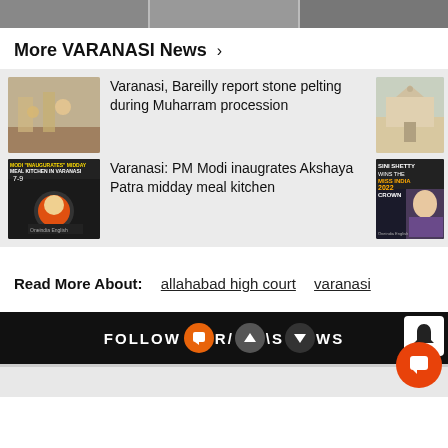[Figure (screenshot): Top strip with three partially visible news thumbnail images]
More VARANASI News >
[Figure (photo): News card: people during stone pelting, thumbnail of a mosque on the right. Headline: Varanasi, Bareilly report stone pelting during Muharram procession]
Varanasi, Bareilly report stone pelting during Muharram procession
[Figure (screenshot): News card: Modi inaugurates midday meal kitchen thumbnail, Sini Shetty Miss India 2022 thumbnail. Headline: Varanasi: PM Modi inaugrates Akshaya Patra midday meal kitchen]
Varanasi: PM Modi inaugrates Akshaya Patra midday meal kitchen
Read More About:   allahabad high court   varanasi
FOLLOW ORAMA NEWS